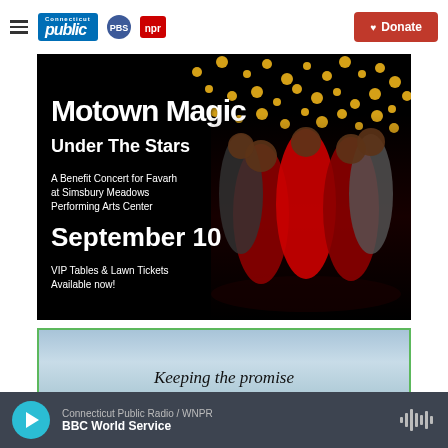Connecticut Public PBS NPR — Donate
[Figure (photo): Concert promotional image on black background with gold confetti dots. Text reads: 'Motown Magic Under The Stars. A Benefit Concert for Favarh at Simsbury Meadows Performing Arts Center. September 10. VIP Tables & Lawn Tickets Available now!' Group of performers in red and black outfits posed together.]
[Figure (photo): Partial image with sky/clouds background and italic text reading 'Keeping the promise']
Connecticut Public Radio / WNPR — BBC World Service